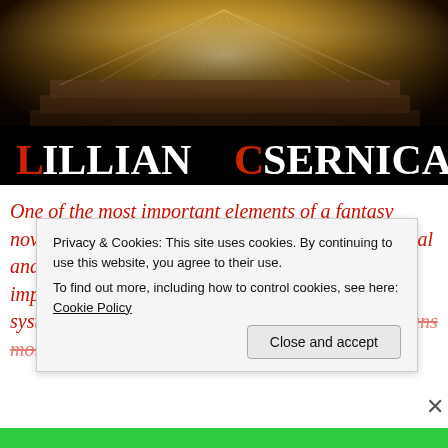[Figure (illustration): Banner image showing open books with golden/warm light, overlaid with 'Lillian Csernica' text where 'L' and 'C' are in red, rest in white, on a dark background.]
One of the most important elements of a fantasy novel or a game world is the magic system. A logical and consistent magic system will do a lot to help improve the quality of the story… A better magic system means a better story, and a better story means more readers!
Privacy & Cookies: This site uses cookies. By continuing to use this website, you agree to their use.
To find out more, including how to control cookies, see here: Cookie Policy